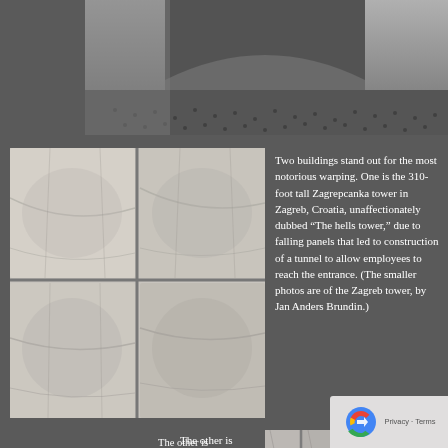[Figure (photo): Aerial or wide view of a large architectural building with crowds of people on a plaza, showing a massive arch or hall structure]
[Figure (photo): Close-up of marble or stone cladding panels on a building facade, showing warping and bowing of the panels — Zagreb tower, photo by Jan Anders Brundin]
Two buildings stand out for the most notorious warping. One is the 310-foot tall Zagrepcanka tower in Zagreb, Croatia, unaffectionately dubbed “The hells tower,” due to falling panels that led to construction of a tunnel to allow employees to reach the entrance. (The smaller photos are of the Zagreb tower, by Jan Anders Brundin.)
The other is Helsinki’s Finlandia Hall, designed by the great architect Alvar Aalto. Completed in 1972 with 7,000 square meters of Carrara marble, the panels started to deteriorate with bowing, cracking, and spalling. The fine citizens of Helsinki decided to replace the panels and chose to reuse Carrara again. Within six months these new, supposedly ultrastrong, ultrasecure panels began to warp.
[Figure (photo): Close-up of a marble-clad building facade showing vertical warped and bowed stone panels — likely Finlandia Hall in Helsinki]